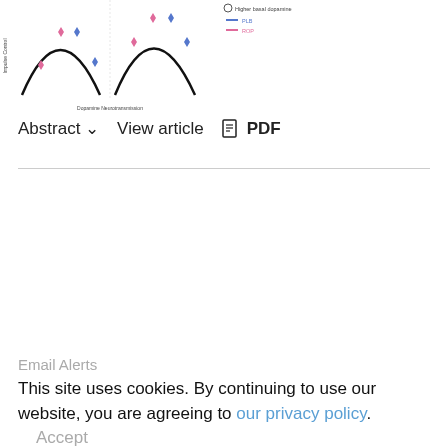[Figure (other): Two inverted-U shaped curves showing Impulse Control vs Dopamine Neurotransmission. Left curve has pink and blue diamond markers; right curve (Higher basal dopamine) has pink and blue diamond markers at higher positions. Legend shows PLB and ROP lines.]
Abstract ∨   View article   🖨 PDF
Email Alerts
This site uses cookies. By continuing to use our website, you are agreeing to our privacy policy. Accept